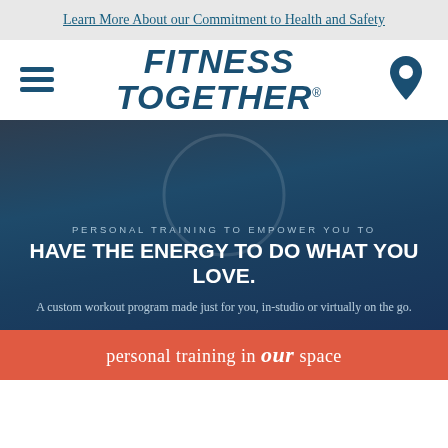Learn More About our Commitment to Health and Safety
[Figure (logo): Fitness Together logo with hamburger menu icon and location pin icon in navigation bar]
PERSONAL TRAINING TO EMPOWER YOU TO HAVE THE ENERGY TO DO WHAT YOU LOVE.
A custom workout program made just for you, in-studio or virtually on the go.
personal training in our space